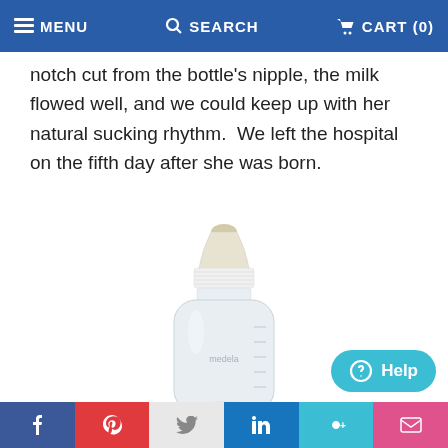MENU   SEARCH   CART (0)
notch cut from the bottle's nipple, the milk flowed well, and we could keep up with her natural sucking rhythm.  We left the hospital on the fifth day after she was born.
[Figure (photo): A small clear plastic nursing bottle with a white screw cap and nipple, likely a hospital-style infant bottle with measurement markings on the side.]
Social share bar: Facebook, Pinterest, Twitter, LinkedIn, Google+, Email